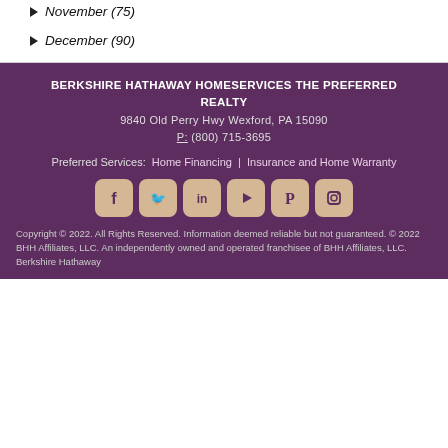November (75)
December (90)
BERKSHIRE HATHAWAY HOMESERVICES THE PREFERRED REALTY
9840 Old Perry Hwy Wexford, PA 15090
P: (800) 715-3695
Preferred Services: Home Financing | Insurance and Home Warranty
[Figure (other): Social media icons row: Facebook, Twitter, LinkedIn, YouTube, Pinterest, Instagram]
Copyright © 2022. All Rights Reserved. Information deemed reliable but not guaranteed. © 2022 BHH Affiliates, LLC. An independently owned and operated franchisee of BHH Affiliates, LLC. Berkshire Hathaway